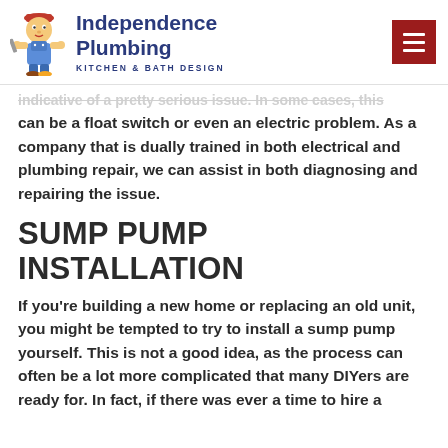[Figure (logo): Independence Plumbing Kitchen & Bath Design logo with cartoon plumber mascot]
indicative of a pretty serious issue. In some cases, this can be a float switch or even an electric problem. As a company that is dually trained in both electrical and plumbing repair, we can assist in both diagnosing and repairing the issue.
SUMP PUMP INSTALLATION
If you're building a new home or replacing an old unit, you might be tempted to try to install a sump pump yourself. This is not a good idea, as the process can often be a lot more complicated that many DIYers are ready for. In fact, if there was ever a time to hire a